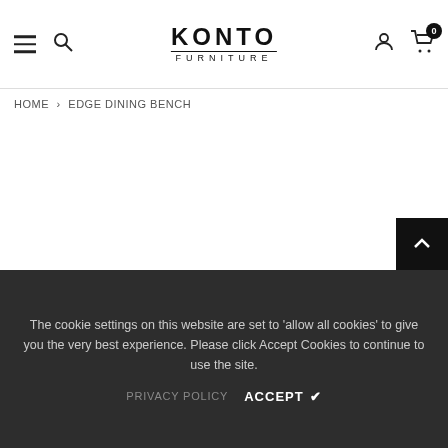KONTO FURNITURE — HOME > EDGE DINING BENCH
HOME > EDGE DINING BENCH
The cookie settings on this website are set to 'allow all cookies' to give you the very best experience. Please click Accept Cookies to continue to use the site.
PRIVACY POLICY   ACCEPT ✔